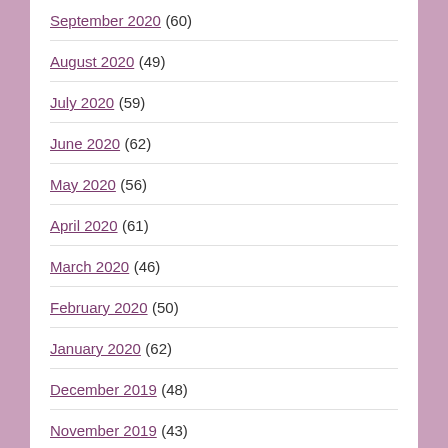September 2020 (60)
August 2020 (49)
July 2020 (59)
June 2020 (62)
May 2020 (56)
April 2020 (61)
March 2020 (46)
February 2020 (50)
January 2020 (62)
December 2019 (48)
November 2019 (43)